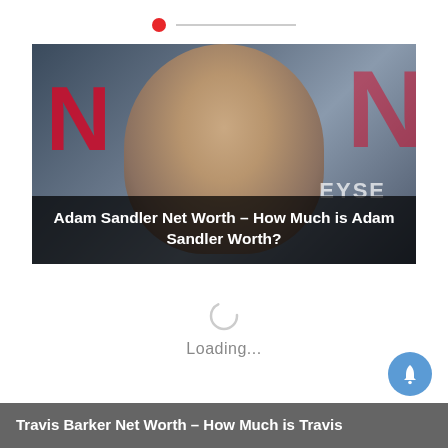[Figure (photo): Adam Sandler smiling at a Netflix event, with large red Netflix N logos visible on either side. Overlay text reads 'Adam Sandler Net Worth – How Much is Adam Sandler Worth?']
Adam Sandler Net Worth – How Much is Adam Sandler Worth?
Loading...
Travis Barker Net Worth – How Much is Travis